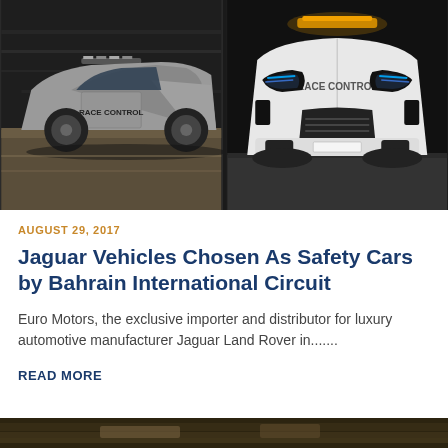[Figure (photo): Two Jaguar F-Type race control safety cars photographed at night on a race circuit. Left photo shows a silver Jaguar F-Type in side profile with 'RACE CONTROL' text on the door, driving on track. Right photo shows a white Jaguar F-Type from a front angle with 'RACE CONTROL' text on hood and amber light bar on roof.]
AUGUST 29, 2017
Jaguar Vehicles Chosen As Safety Cars by Bahrain International Circuit
Euro Motors, the exclusive importer and distributor for luxury automotive manufacturer Jaguar Land Rover in.......
READ MORE
[Figure (photo): Partial view of another automotive photo at the bottom of the page, cropped.]